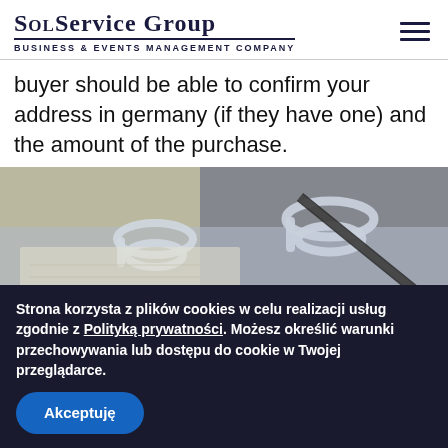SolService Group — Business & Events Management Company
buyer should be able to confirm your address in germany (if they have one) and the amount of the purchase.
[Figure (photo): Close-up photo of paper clips and a pen on documents]
Strona korzysta z plików cookies w celu realizacji usług zgodnie z Polityką prywatności. Możesz określić warunki przechowywania lub dostępu do cookie w Twojej przeglądarce.
Akceptuję